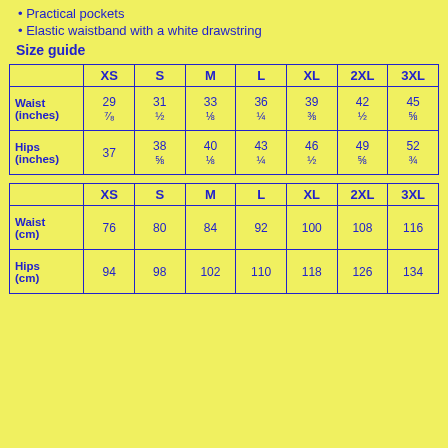Practical pockets
Elastic waistband with a white drawstring
Size guide
|  | XS | S | M | L | XL | 2XL | 3XL |
| --- | --- | --- | --- | --- | --- | --- | --- |
| Waist (inches) | 29 7/8 | 31 1/2 | 33 1/8 | 36 1/4 | 39 3/8 | 42 1/2 | 45 5/8 |
| Hips (inches) | 37 | 38 5/8 | 40 1/8 | 43 1/4 | 46 1/2 | 49 5/8 | 52 3/4 |
|  | XS | S | M | L | XL | 2XL | 3XL |
| --- | --- | --- | --- | --- | --- | --- | --- |
| Waist (cm) | 76 | 80 | 84 | 92 | 100 | 108 | 116 |
| Hips (cm) | 94 | 98 | 102 | 110 | 118 | 126 | 134 |